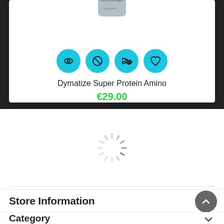[Figure (photo): Product card showing Dymatize Super Protein Amino supplement container (partial top), four cyan circular icon buttons (eye, ban, shuffle, heart), product name, and price]
Dymatize Super Protein Amino
€29.00
[Figure (other): Loading spinner / circular progress indicator]
Store Information
Category